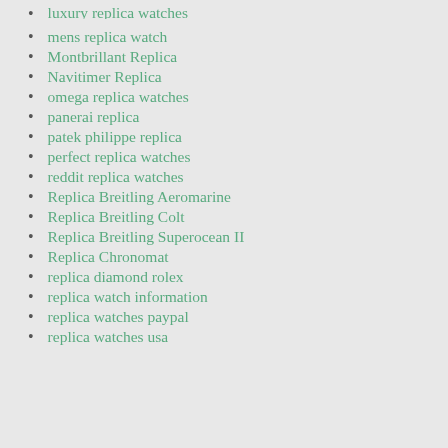luxury replica watches (partial, top cut off)
mens replica watch
Montbrillant Replica
Navitimer Replica
omega replica watches
panerai replica
patek philippe replica
perfect replica watches
reddit replica watches
Replica Breitling Aeromarine
Replica Breitling Colt
Replica Breitling Superocean II
Replica Chronomat
replica diamond rolex
replica watch information
replica watches paypal
replica watches usa